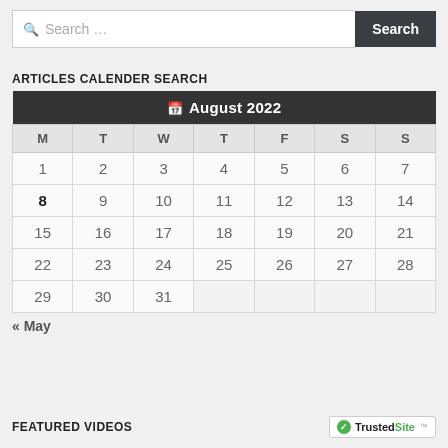Search ...
ARTICLES CALENDER SEARCH
| M | T | W | T | F | S | S |
| --- | --- | --- | --- | --- | --- | --- |
| 1 | 2 | 3 | 4 | 5 | 6 | 7 |
| 8 | 9 | 10 | 11 | 12 | 13 | 14 |
| 15 | 16 | 17 | 18 | 19 | 20 | 21 |
| 22 | 23 | 24 | 25 | 26 | 27 | 28 |
| 29 | 30 | 31 |  |  |  |  |
« May
FEATURED VIDEOS